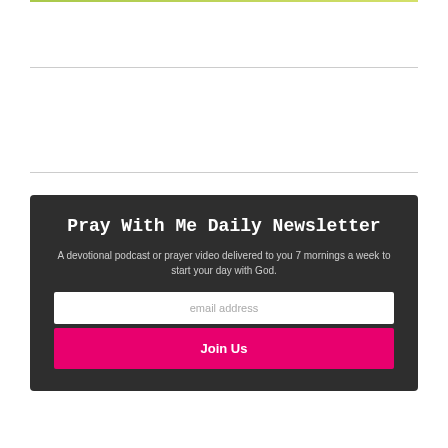Pray With Me Daily Newsletter
A devotional podcast or prayer video delivered to you 7 mornings a week to start your day with God.